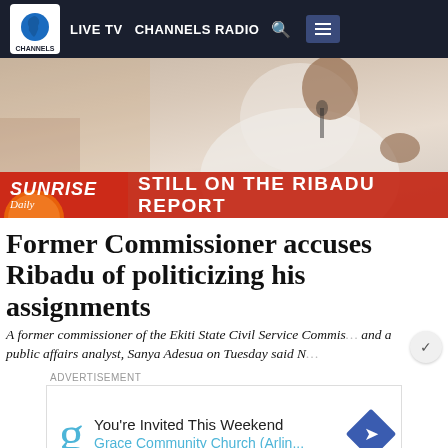LIVE TV  CHANNELS RADIO
[Figure (screenshot): Channels TV website screenshot showing a video thumbnail of a person in white clothing with a lower-third banner reading SUNRISE STILL ON THE RIBADU REPORT]
Former Commissioner accuses Ribadu of politicizing his assignments
A former commissioner of the Ekiti State Civil Service Commission and a public affairs analyst, Sanya Adesua on Tuesday said N
ADVERTISEMENT You're Invited This Weekend Grace Community Church (Arlin...